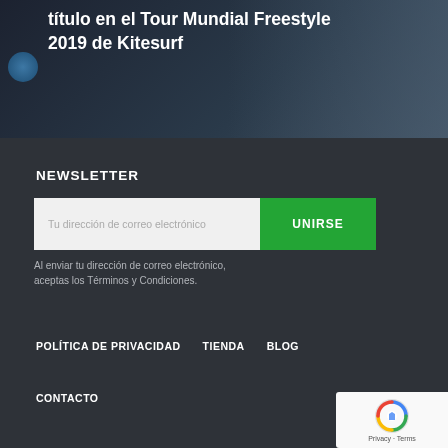[Figure (photo): Dark background banner image with kitesurf-related imagery showing text overlay about Tour Mundial Freestyle 2019 de Kitesurf]
título en el Tour Mundial Freestyle 2019 de Kitesurf
NEWSLETTER
Tu dirección de correo electrónico
UNIRSE
Al enviar tu dirección de correo electrónico, aceptas los Términos y Condiciones.
POLÍTICA DE PRIVACIDAD   TIENDA   BLOG
CONTACTO